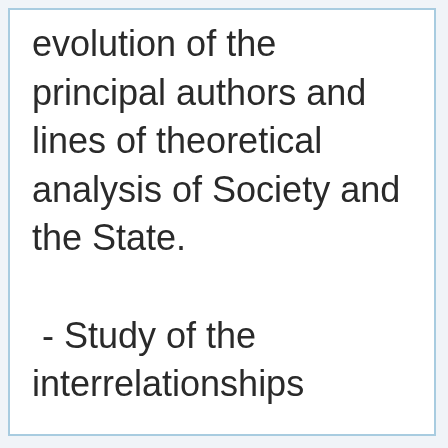evolution of the principal authors and lines of theoretical analysis of Society and the State. - Study of the interrelationships